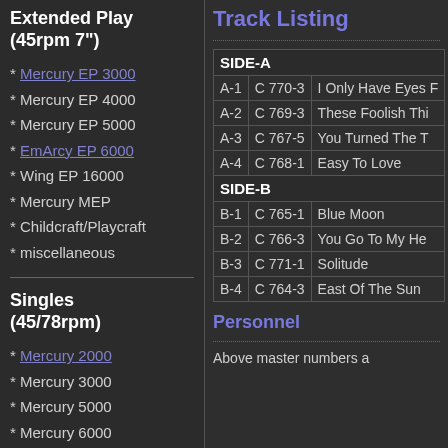Extended Play (45rpm 7")
* Mercury EP 3000
* Mercury EP 4000
* Mercury EP 5000
* EmArcy EP 6000
* Wing EP 16000
* Mercury MEP
* Childcraft/Playcraft
* miscellaneous
Singles (45/78rpm)
* Mercury 2000
* Mercury 3000
* Mercury 5000
* Mercury 6000
* Mercury 8000
* Mercury 8900
Track Listing
|  |  |  |
| --- | --- | --- |
| SIDE-A |  |  |
| A-1 | C 770-3 | I Only Have Eyes F... |
| A-2 | C 769-3 | These Foolish Thi... |
| A-3 | C 767-5 | You Turned The T... |
| A-4 | C 768-1 | Easy To Love |
| SIDE-B |  |  |
| B-1 | C 765-1 | Blue Moon |
| B-2 | C 766-3 | You Go To My He... |
| B-3 | C 771-1 | Solitude |
| B-4 | C 764-3 | East Of The Sun |
Personnel
Above master numbers a...